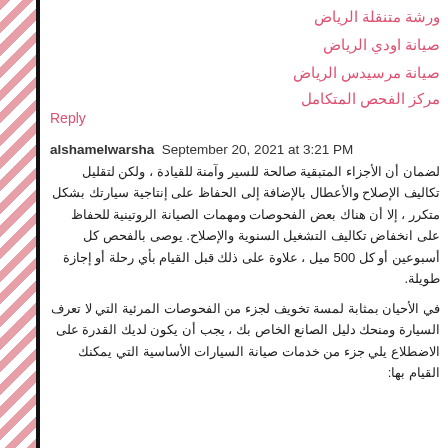ورشة متنقلة الرياض
صيانة اودي الرياض
صيانة مرسيدس الرياض
مركز الفحص المتكامل
Reply
alshamelwarsha  September 20, 2021 at 3:21 PM
لضمان أن الأجزاء المتبقية صالحة للسير وآمنة للقيادة ، ولكن لتقليل تكاليف الإصلاح والأعطال بالإضافة إلى الحفاظ على إنتاجية سيارتك بشكل متكرر ، إلا أن هناك بعض الفحوصات ومهمات الصيانة الروتينية للحفاظ على انخفاض تكاليف التشغيل السنوية والإصلاح. يوصى بالفحص كل أسبوعين أو كل 500 ميل ، علاوة على ذلك قبل القيام بأي رحلة أو إجازة طويلة.
في الأحيان بمثابة لمسة تخويف لجزء من الفحوصات المرئية التي لا تعرف السيارة ومنحك دليل الصانع الخاص بك ، يجب أن يكون لديك القدرة على الاضطلاع يلي جزء من خدمات صيانة السيارات الأساسية التي يمكنك القيام بها: